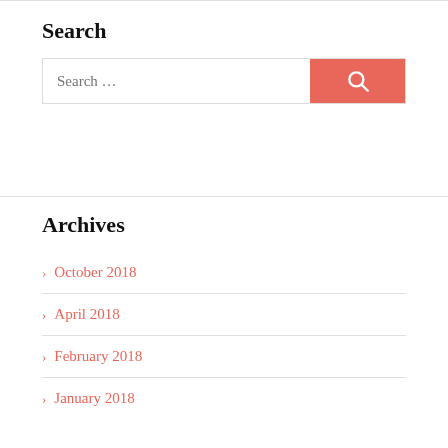Search
[Figure (screenshot): Search input box with placeholder text 'Search …' and a coral/red search button with magnifying glass icon]
Archives
> October 2018
> April 2018
> February 2018
> January 2018